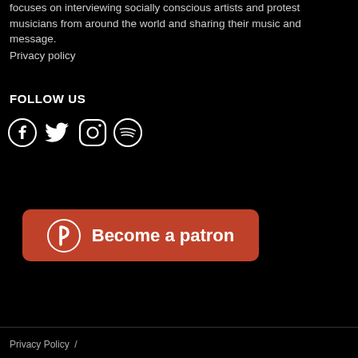focuses on interviewing socially conscious artists and protest musicians from around the world and sharing their music and message.
Privacy policy
FOLLOW US
[Figure (illustration): Social media icons: Facebook, Twitter, Instagram, Spotify]
[Figure (illustration): Patreon button with Patreon logo icon and text 'Become a patron']
Privacy Policy  /